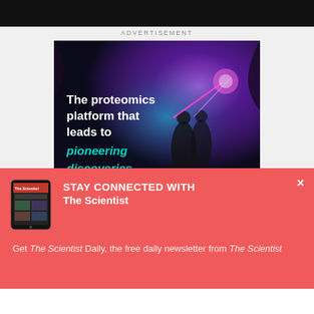ADVERTISEMENT
[Figure (photo): Advertisement for a proteomics platform showing two figures in a cave with purple/teal light effects. Text reads: 'The proteomics platform that leads to pioneering discoveries']
[Figure (infographic): Popup overlay with red background. Shows tablet device image on left. Title: 'STAY CONNECTED WITH The Scientist'. Body: 'Get The Scientist Daily, the free daily newsletter from The Scientist'. Close button (x) in top right. Email input field at bottom.]
Get The Scientist Daily, the free daily newsletter from The Scientist